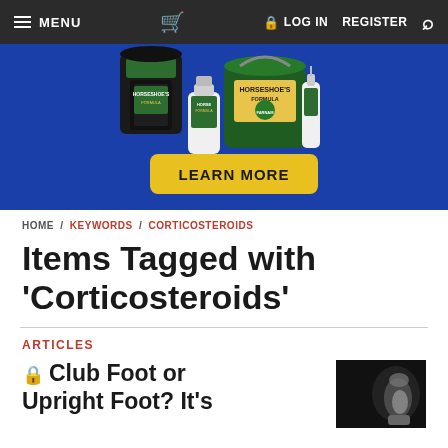MENU  [cart]  LOG IN  REGISTER  [search]
[Figure (photo): Advertisement banner with horse hoof care products (buckets and bottles) on blue background with yellow 'LEARN MORE' button]
HOME / KEYWORDS / CORTICOSTEROIDS
Items Tagged with 'Corticosteroids'
ARTICLES
Club Foot or Upright Foot? It's